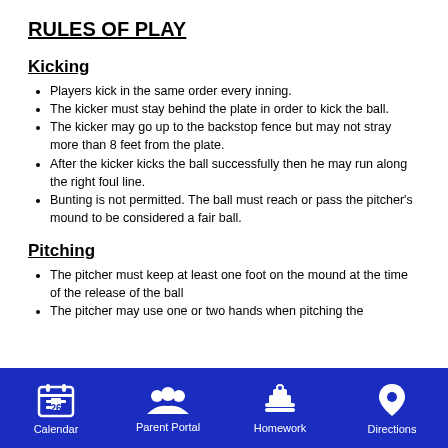RULES OF PLAY
Kicking
Players kick in the same order every inning.
The kicker must stay behind the plate in order to kick the ball.
The kicker may go up to the backstop fence but may not stray more than 8 feet from the plate.
After the kicker kicks the ball successfully then he may run along the right foul line.
Bunting is not permitted. The ball must reach or pass the pitcher's mound to be considered a fair ball.
Pitching
The pitcher must keep at least one foot on the mound at the time of the release of the ball
The pitcher may use one or two hands when pitching the
Calendar  Parent Portal  Homework  Directions